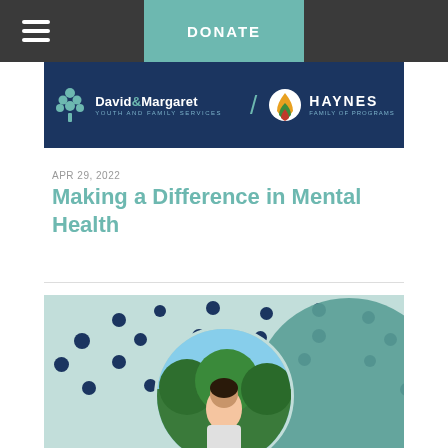DONATE
[Figure (logo): David & Margaret Youth and Family Services / Haynes Family of Programs logo on dark blue banner]
APR 29, 2022
Making a Difference in Mental Health
[Figure (photo): Article featured image with light teal background, navy dots pattern, teal arc shape, and circular photo of a young man outdoors with trees in the background]